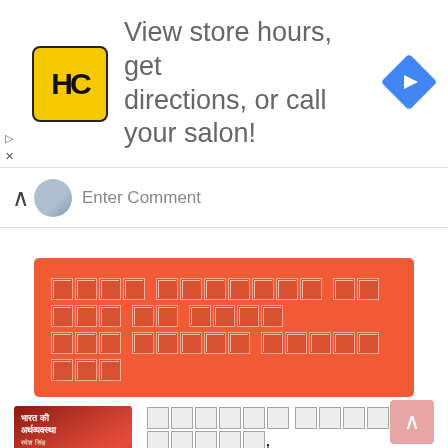[Figure (infographic): HC salon advertisement banner: HC logo on yellow background, text 'View store hours, get directions, or call your salon!', blue navigation diamond icon on right]
Enter Comment
[Figure (infographic): Red/orange banner with broken image placeholder boxes arranged in two rows (Hindi text not rendering, shown as broken image icons)]
[Figure (photo): Book cover thumbnail - Indian Economy book in red with Hindi text and author name]
भारतीय अर्थव्यवस्था, यूपीएससी परीक्षा हिन्दी : रमेश सिंह द्वारा लिखी गई यह | Indian Economy By Ramesh Singh : For UPSC Exam Hindi PDF Book
May 22, 2019